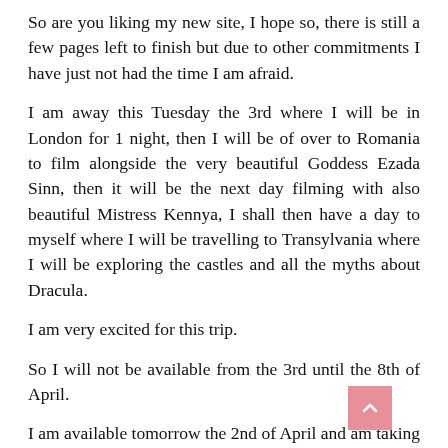So are you liking my new site, I hope so, there is still a few pages left to finish but due to other commitments I have just not had the time I am afraid.
I am away this Tuesday the 3rd where I will be in London for 1 night, then I will be of over to Romania to film alongside the very beautiful Goddess Ezada Sinn, then it will be the next day filming with also beautiful Mistress Kennya, I shall then have a day to myself where I will be travelling to Transylvania where I will be exploring the castles and all the myths about Dracula.
I am very excited for this trip.
So I will not be available from the 3rd until the 8th of April.
I am available tomorrow the 2nd of April and am taking same day appointments so do call.
Now the big news again is myself and Mistress Real